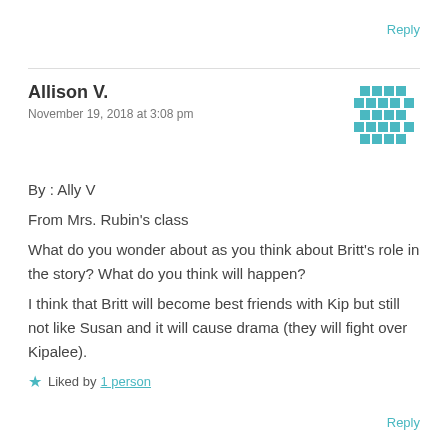Reply
Allison V.
November 19, 2018 at 3:08 pm
[Figure (other): Pixel avatar icon for user Allison V., teal/blue checkered pattern]
By : Ally V
From Mrs. Rubin's class
What do you wonder about as you think about Britt's role in the story? What do you think will happen?
I think that Britt will become best friends with Kip but still not like Susan and it will cause drama (they will fight over Kipalee).
Liked by 1 person
Reply